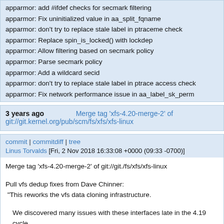apparmor: add #ifdef checks for secmark filtering
apparmor: Fix uninitialized value in aa_split_fqname
apparmor: don't try to replace stale label in ptraceme check
apparmor: Replace spin_is_locked() with lockdep
apparmor: Allow filtering based on secmark policy
apparmor: Parse secmark policy
apparmor: Add a wildcard secid
apparmor: don't try to replace stale label in ptrace access check
apparmor: Fix network performance issue in aa_label_sk_perm
3 years ago   Merge tag 'xfs-4.20-merge-2' of git://git.kernel.org/pub/scm/fs/xfs/xfs-linux
commit | commitdiff | tree
Linus Torvalds [Fri, 2 Nov 2018 16:33:08 +0000 (09:33 -0700)]
Merge tag 'xfs-4.20-merge-2' of git://git./fs/xfs/xfs-linux

Pull vfs dedup fixes from Dave Chinner:
 "This reworks the vfs data cloning infrastructure.

  We discovered many issues with these interfaces late in the 4.19 cycle - the worst of them (data corruption, setuid stripping) were fixed for